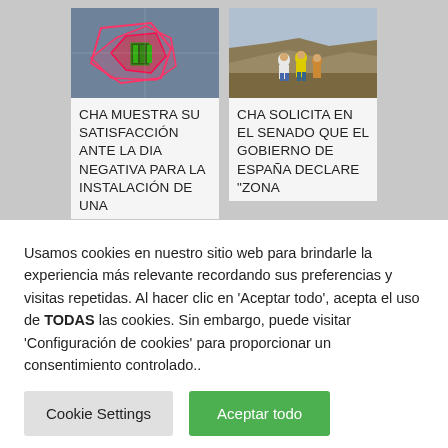[Figure (screenshot): Website card with a technical map/plan image showing colored outlines on aerial photography, titled 'CHA MUESTRA SU SATISFACCIÓN ANTE LA DIA NEGATIVA PARA LA INSTALACIÓN DE UNA']
[Figure (screenshot): Website card with a landscape photo showing people standing on rocky terrain, titled 'CHA SOLICITA EN EL SENADO QUE EL GOBIERNO DE ESPAÑA DECLARE "ZONA']
Usamos cookies en nuestro sitio web para brindarle la experiencia más relevante recordando sus preferencias y visitas repetidas. Al hacer clic en 'Aceptar todo', acepta el uso de TODAS las cookies. Sin embargo, puede visitar 'Configuración de cookies' para proporcionar un consentimiento controlado..